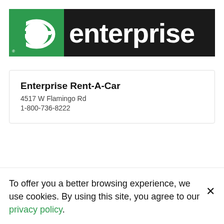[Figure (logo): Enterprise Rent-A-Car logo: green square with stylized white 'e' on left, black rectangle with white 'enterprise' text on right]
Enterprise Rent-A-Car
4517 W Flamingo Rd
1-800-736-8222
To offer you a better browsing experience, we use cookies. By using this site, you agree to our privacy policy.